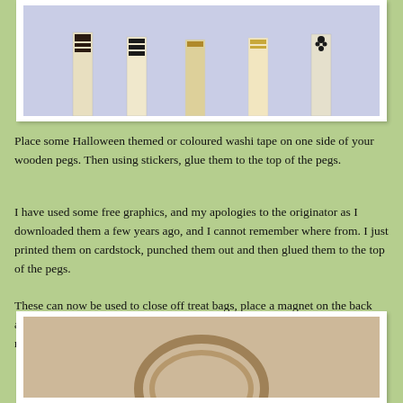[Figure (photo): Photo of decorated wooden pegs with Halloween washi tape and stickers on a lavender/blue background, shot from above showing several pegs standing upright.]
Place some Halloween themed or coloured washi tape on one side of your wooden pegs.  Then using stickers, glue them to the top of the pegs.
I have used some free graphics, and my apologies to the originator as I downloaded them a few years ago, and I cannot remember where from.  I just printed them on cardstock, punched them out and then glued them to the top of the pegs.
These can now be used to close off treat bags, place a magnet on the back and place on the fridge to hold your children's Halloween projects.  Easy and many uses.
[Figure (photo): Partial photo of a Halloween craft item on a light background, showing what appears to be a woven or braided circular object.]